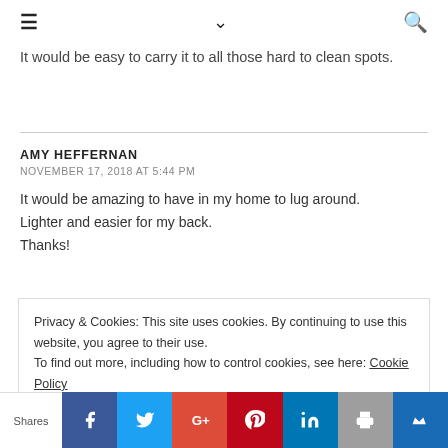≡ ∨ 🔍
It would be easy to carry it to all those hard to clean spots.
AMY HEFFERNAN
NOVEMBER 17, 2018 AT 5:44 PM

It would be amazing to have in my home to lug around. Lighter and easier for my back.
Thanks!
Privacy & Cookies: This site uses cookies. By continuing to use this website, you agree to their use.
To find out more, including how to control cookies, see here: Cookie Policy
Shares | Facebook | Twitter | Google+ | Pinterest | LinkedIn | Print | Crown